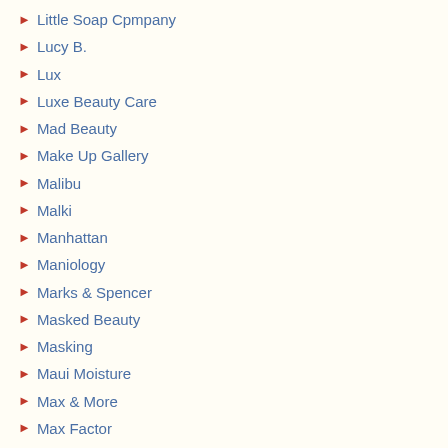Little Soap Cpmpany
Lucy B.
Lux
Luxe Beauty Care
Mad Beauty
Make Up Gallery
Malibu
Malki
Manhattan
Maniology
Marks & Spencer
Masked Beauty
Masking
Maui Moisture
Max & More
Max Factor
Maxbrands
Maybelline
MISC
Miss Beauty London